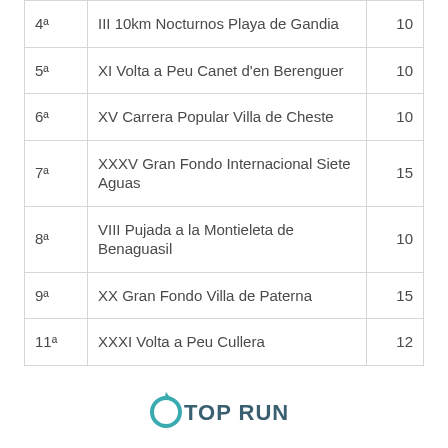|  |  |  |
| --- | --- | --- |
| 4ª | III 10km Nocturnos Playa de Gandia | 10 |
| 5ª | XI Volta a Peu Canet d'en Berenguer | 10 |
| 6ª | XV Carrera Popular Villa de Cheste | 10 |
| 7ª | XXXV Gran Fondo Internacional Siete Aguas | 15 |
| 8ª | VIII Pujada a la Montieleta de Benaguasil | 10 |
| 9ª | XX Gran Fondo Villa de Paterna | 15 |
| 11ª | XXXI Volta a Peu Cullera | 12 |
[Figure (logo): TOP RUN logo with teal/blue color and stylized running figure icon]